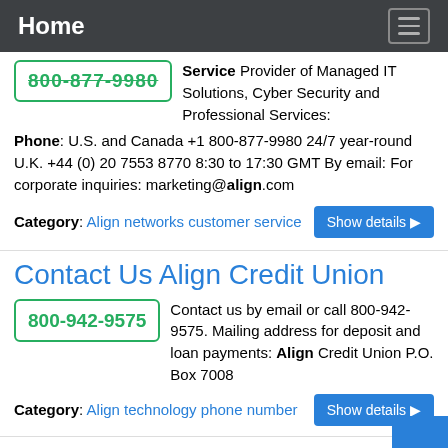Home
Service Provider of Managed IT Solutions, Cyber Security and Professional Services: Phone: U.S. and Canada +1 800-877-9980 24/7 year-round U.K. +44 (0) 20 7553 8770 8:30 to 17:30 GMT By email: For corporate inquiries: marketing@align.com
Category: Align networks customer service
Contact Us Align Credit Union
Contact us by email or call 800-942-9575. Mailing address for deposit and loan payments: Align Credit Union P.O. Box 7008
Category: Align technology phone number
Contact Us Align...